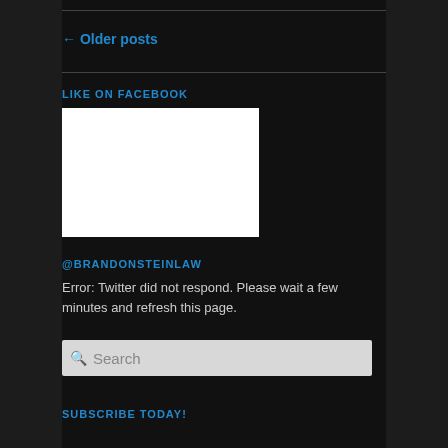← Older posts
LIKE ON FACEBOOK
[Figure (other): Facebook like widget placeholder — white rectangle]
@BRANDONSTEINLAW
Error: Twitter did not respond. Please wait a few minutes and refresh this page.
Search
SUBSCRIBE TODAY!